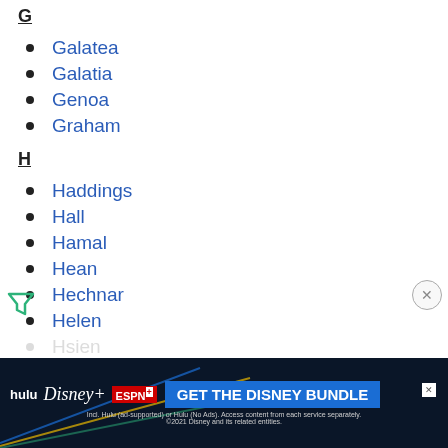G
Galatea
Galatia
Genoa
Graham
H
Haddings
Hall
Hamal
Hean
Hechnar
Helen
Hsien
I
Imbros
[Figure (other): Hulu Disney+ ESPN+ GET THE DISNEY BUNDLE advertisement banner]